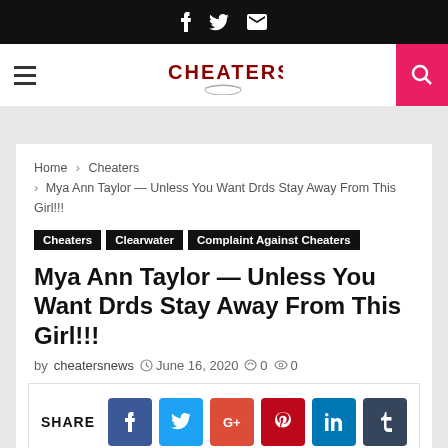f  twitter  email — Cheaters News header with logo and search
Home > Cheaters > Mya Ann Taylor — Unless You Want Drds Stay Away From This Girl!!!
Cheaters
Clearwater
Complaint Against Cheaters
Mya Ann Taylor — Unless You Want Drds Stay Away From This Girl!!!
by cheatersnews  June 16, 2020  0  0
[Figure (other): Social share buttons: Facebook, Twitter, Google+, Pinterest, LinkedIn, Tumblr, Reddit, WhatsApp, Telegram, Email, Digg]